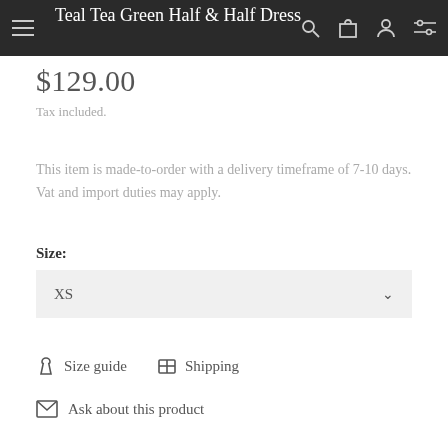Teal Tea Green Half & Half Dress
$129.00
Tax included.
This item is made-to-order with a delivery timeframe of 7-10 days. Vat and import duties may apply.
Size:
XS
Size guide
Shipping
Ask about this product